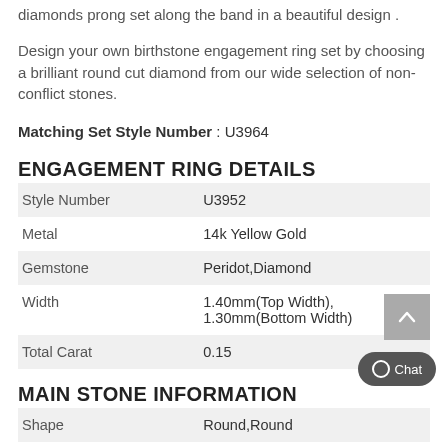alternating green peridots and cut color, on the shiny diamonds prong set along the band in a beautiful design .
Design your own birthstone engagement ring set by choosing a brilliant round cut diamond from our wide selection of non-conflict stones.
Matching Set Style Number : U3964
ENGAGEMENT RING DETAILS
|  |  |
| --- | --- |
| Style Number | U3952 |
| Metal | 14k Yellow Gold |
| Gemstone | Peridot,Diamond |
| Width | 1.40mm(Top Width), 1.30mm(Bottom Width) |
| Total Carat | 0.15 |
MAIN STONE INFORMATION
|  |  |
| --- | --- |
| Shape | Round,Round |
| Clarity | Eye Clean,VS2-SI1 |
| Color | Green,G-H |
| Setting Type | Prong,Prong |